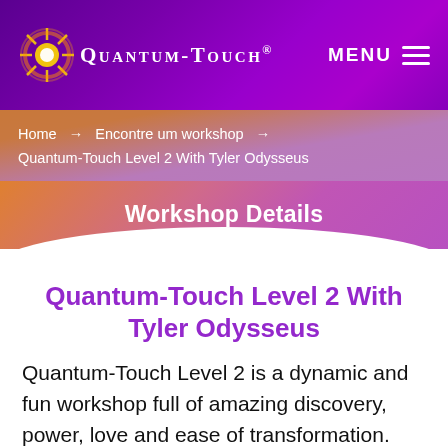Quantum-Touch® MENU
Home → Encontre um workshop → Quantum-Touch Level 2 With Tyler Odysseus
Workshop Details
Quantum-Touch Level 2 With Tyler Odysseus
Quantum-Touch Level 2 is a dynamic and fun workshop full of amazing discovery, power, love and ease of transformation. The two